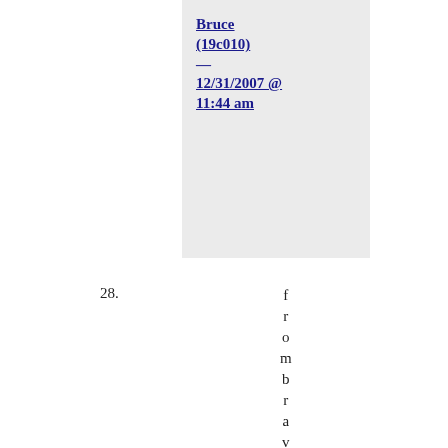Bruce (19c010) — 12/31/2007 @ 11:44 am
28. frombraveforthright